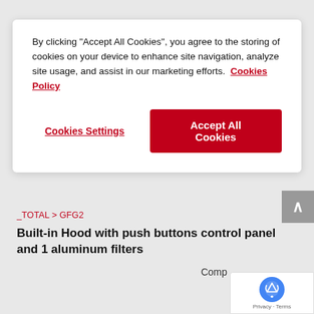By clicking "Accept All Cookies", you agree to the storing of cookies on your device to enhance site navigation, analyze site usage, and assist in our marketing efforts.  Cookies Policy
Cookies Settings
Accept All Cookies
_TOTAL > GFG2
Built-in Hood with push buttons control panel and 1 aluminum filters
Comp